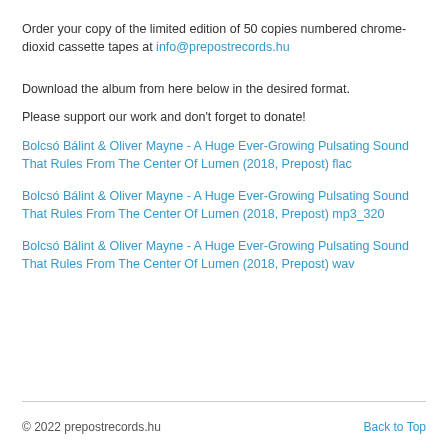Order your copy of the limited edition of 50 copies numbered chrome-dioxid cassette tapes at info@prepostrecords.hu
Download the album from here below in the desired format.
Please support our work and don't forget to donate!
Bolcsó Bálint & Oliver Mayne - A Huge Ever-Growing Pulsating Sound That Rules From The Center Of Lumen (2018, Prepost) flac
Bolcsó Bálint & Oliver Mayne - A Huge Ever-Growing Pulsating Sound That Rules From The Center Of Lumen (2018, Prepost) mp3_320
Bolcsó Bálint & Oliver Mayne - A Huge Ever-Growing Pulsating Sound That Rules From The Center Of Lumen (2018, Prepost) wav
© 2022 prepostrecords.hu   Back to Top